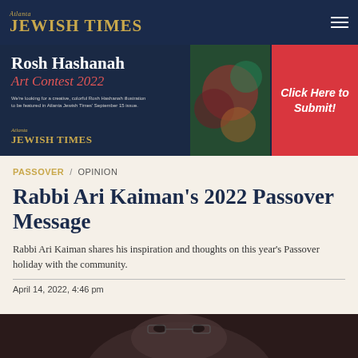Atlanta Jewish Times
[Figure (infographic): Advertisement banner for Rosh Hashanah Art Contest 2022 by Atlanta Jewish Times with a 'Click Here to Submit!' red button on the right side]
PASSOVER / OPINION
Rabbi Ari Kaiman's 2022 Passover Message
Rabbi Ari Kaiman shares his inspiration and thoughts on this year's Passover holiday with the community.
April 14, 2022, 4:46 pm
[Figure (photo): Partial photo of Rabbi Ari Kaiman at bottom of page]